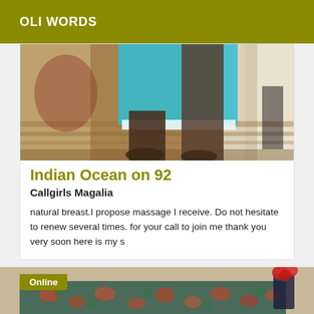OLI WORDS
[Figure (photo): Blurry photo showing lower body of a person wearing a cyan/turquoise dress standing in a doorway or hallway with wooden flooring]
Indian Ocean on 92
Callgirls Magalia
natural breast.I propose massage I receive. Do not hesitate to renew several times. for your call to join me thank you very soon here is my s
[Figure (photo): Photo of a floral patterned sofa/couch with a vase of red flowers visible in the background, with an 'Online' badge overlay]
Online